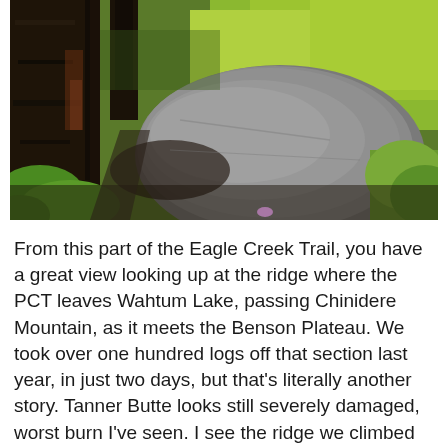[Figure (photo): Outdoor forest trail scene with a large boulder in the center, surrounded by trees (some charred/dark bark) and green leafy vegetation. Bright sunlight illuminates the greenery in the background. The trail runs alongside the boulder.]
From this part of the Eagle Creek Trail, you have a great view looking up at the ridge where the PCT leaves Wahtum Lake, passing Chinidere Mountain, as it meets the Benson Plateau. We took over one hundred logs off that section last year, in just two days, but that's literally another story. Tanner Butte looks still severely damaged, worst burn I've seen. I see the ridge we climbed two years ago, where I fell and nearly died. These hills hold a lot of personal history for me.